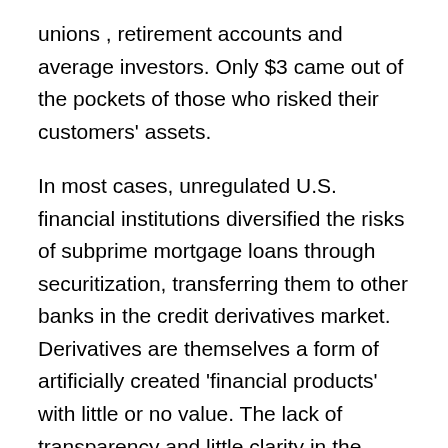unions , retirement accounts and average investors. Only $3 came out of the pockets of those who risked their customers' assets.
In most cases, unregulated U.S. financial institutions diversified the risks of subprime mortgage loans through securitization, transferring them to other banks in the credit derivatives market. Derivatives are themselves a form of artificially created 'financial products' with little or no value. The lack of transparency and little clarity in the terms of the derivative contracts make this financial instrument the most attractive, but also the riskiest one. In the case of the crisis of 2008, investors only got to know the risk and not the promised high returns in their investments. That is how many individuals, companies and organizations saw their monies simply disappear.